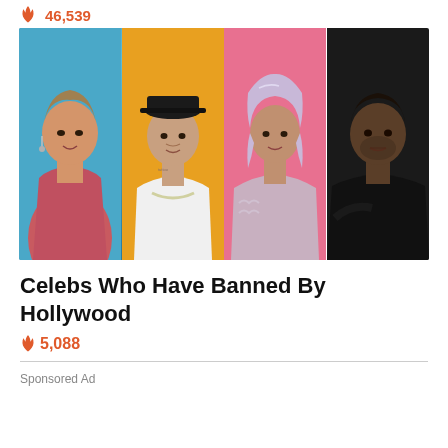46,539
[Figure (photo): Collage of four celebrities side by side: Scarlett Johansson on blue background, Justin Bieber on yellow/orange background, a woman with lavender hair on pink background, and Kanye West on dark background.]
Celebs Who Have Banned By Hollywood
5,088
Sponsored Ad